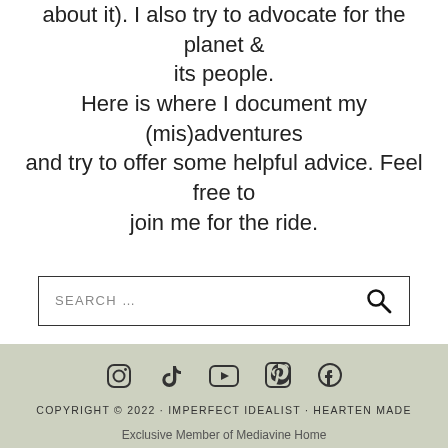about it). I also try to advocate for the planet & its people. Here is where I document my (mis)adventures and try to offer some helpful advice. Feel free to join me for the ride.
[Figure (other): Search bar with magnifying glass icon and placeholder text 'SEARCH ...']
COPYRIGHT © 2022 · IMPERFECT IDEALIST · HEARTEN MADE
Exclusive Member of Mediavine Home
[Figure (photo): Advertisement banner showing hands forming a heart shape with text 'LOVE > HATE' on green background, with close X button and Mediavine badge]